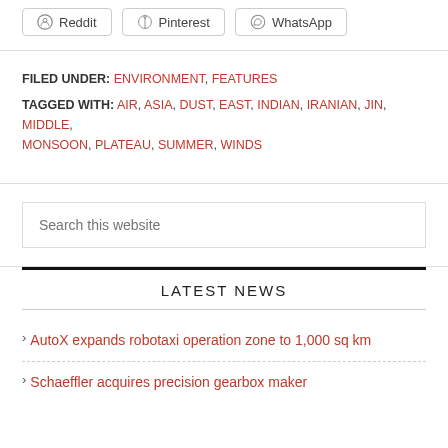[Figure (other): Social sharing buttons for Reddit, Pinterest, and WhatsApp]
FILED UNDER: ENVIRONMENT, FEATURES
TAGGED WITH: AIR, ASIA, DUST, EAST, INDIAN, IRANIAN, JIN, MIDDLE, MONSOON, PLATEAU, SUMMER, WINDS
Search this website
LATEST NEWS
AutoX expands robotaxi operation zone to 1,000 sq km
Schaeffler acquires precision gearbox maker